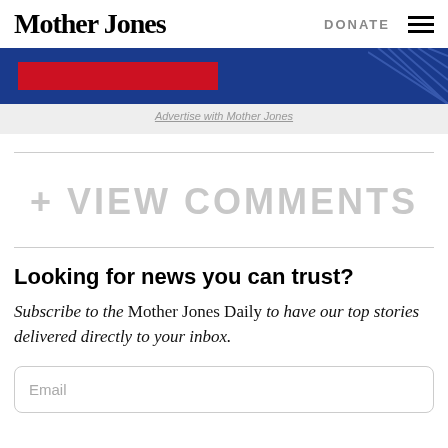Mother Jones   DONATE
[Figure (illustration): Advertisement banner with blue background, red bar on left, diagonal lines on right]
Advertise with Mother Jones
+ VIEW COMMENTS
Looking for news you can trust?
Subscribe to the Mother Jones Daily to have our top stories delivered directly to your inbox.
Email